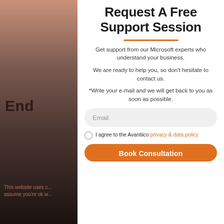[Figure (illustration): Left panel with gradient background from salmon/copper at top fading to dark brown/black at bottom, with text overlay]
End
This website uses c... assume you're ok w...
Request A Free Support Session
Get support from our Microsoft experts who understand your business.

We are ready to help you, so don't hesitate to contact us.

*Write your e-mail and we will get back to you as soon as possible.
Email
I agree to the Avantiico privacy & data policy
Book Consultation